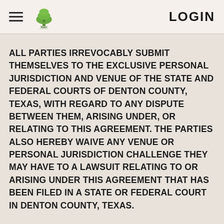LOGIN
ALL PARTIES IRREVOCABLY SUBMIT THEMSELVES TO THE EXCLUSIVE PERSONAL JURISDICTION AND VENUE OF THE STATE AND FEDERAL COURTS OF DENTON COUNTY, TEXAS, WITH REGARD TO ANY DISPUTE BETWEEN THEM, ARISING UNDER, OR RELATING TO THIS AGREEMENT. THE PARTIES ALSO HEREBY WAIVE ANY VENUE OR PERSONAL JURISDICTION CHALLENGE THEY MAY HAVE TO A LAWSUIT RELATING TO OR ARISING UNDER THIS AGREEMENT THAT HAS BEEN FILED IN A STATE OR FEDERAL COURT IN DENTON COUNTY, TEXAS.